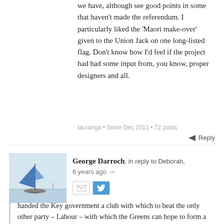we have, although see good points in some that haven't made the referendum. I particularly liked the 'Maori make-over' given to the Union Jack on one long-listed flag. Don't know how I'd feel if the project had had some input from, you know, proper designers and all.
tauranga • Since Dec 2011 • 72 posts
Reply
George Darroch, in reply to Deborah, 6 years ago
[Figure (illustration): Avatar image showing a sailboat with a blue triangular sail on calm water with a pale sky background]
handed the Key government a club with which to beat the only other party – Labour – with which the Greens can hope to form a government in 2017. Was Red Peak such a compelling cause that the Greens needed to expend so much political capital on it?
If Labour were intransigent in their opposition to a process that would allow people to vote on their preferred flag before choosing whether to change